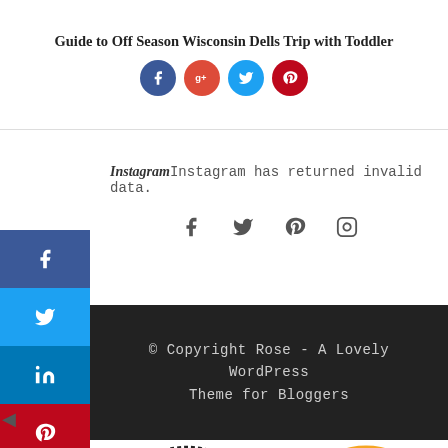Guide to Off Season Wisconsin Dells Trip with Toddler
[Figure (infographic): Social media share buttons: Facebook, Google+, Twitter, Pinterest circles]
Instagram Instagram has returned invalid data.
[Figure (infographic): Social icons row: f, twitter bird, pinterest p, instagram camera]
[Figure (infographic): Vertical social share sidebar: Facebook (blue), Twitter (light blue), LinkedIn (dark blue), Pinterest (red), Reddit (light blue), Meewe (orange), Mail (gray)]
© Copyright Rose - A Lovely WordPress Theme for Bloggers
[Figure (logo): BB (Blog Bruiser?) logo — large double B lettermark inside dotted octagonal border circle]
[Figure (logo): LINQIA Influencer badge — orange double-circle border with colorful stacked lines icon and LINQIA Influencer text]